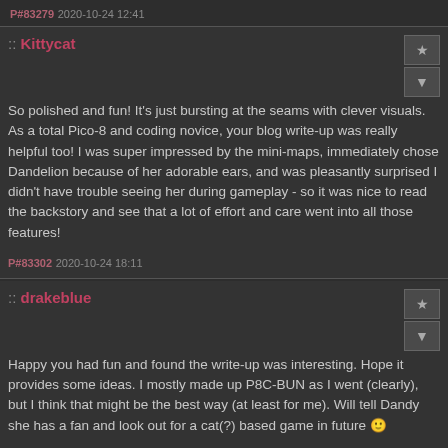P#83279 2020-10-24 12:41
:: Kittycat
So polished and fun! It's just bursting at the seams with clever visuals. As a total Pico-8 and coding novice, your blog write-up was really helpful too! I was super impressed by the mini-maps, immediately chose Dandelion because of her adorable ears, and was pleasantly surprised I didn't have trouble seeing her during gameplay - so it was nice to read the backstory and see that a lot of effort and care went into all those features!
P#83302 2020-10-24 18:11
:: drakeblue
Happy you had fun and found the write-up was interesting. Hope it provides some ideas. I mostly made up P8C-BUN as I went (clearly), but I think that might be the best way (at least for me). Will tell Dandy she has a fan and look out for a cat(?) based game in future 🙂
P#83340 2020-10-25 13:03 ( Edited 2020-10-25 18:41)